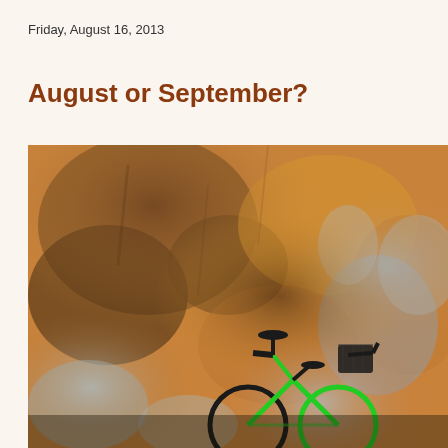Friday, August 16, 2013
August or September?
[Figure (photo): Photo of bicycles (including a bright green bicycle with a black basket) leaning against a weathered orange and brown peeling plaster wall, partially visible at the bottom right of the image.]